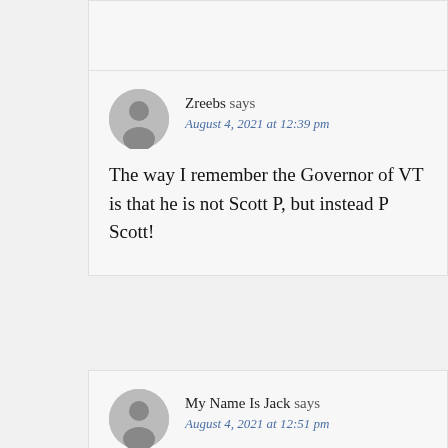[partial comment block — cropped at top]
Zreebs says
August 4, 2021 at 12:39 pm

The way I remember the Governor of VT is that he is not Scott P, but instead P Scott!
My Name Is Jack says
August 4, 2021 at 12:51 pm